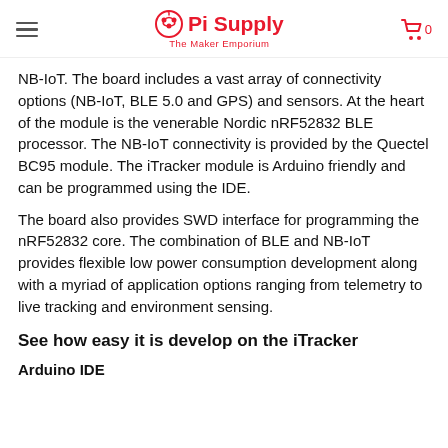Pi Supply — The Maker Emporium
NB-IoT. The board includes a vast array of connectivity options (NB-IoT, BLE 5.0 and GPS) and sensors. At the heart of the module is the venerable Nordic nRF52832 BLE processor. The NB-IoT connectivity is provided by the Quectel BC95 module. The iTracker module is Arduino friendly and can be programmed using the IDE.
The board also provides SWD interface for programming the nRF52832 core. The combination of BLE and NB-IoT provides flexible low power consumption development along with a myriad of application options ranging from telemetry to live tracking and environment sensing.
See how easy it is develop on the iTracker
Arduino IDE